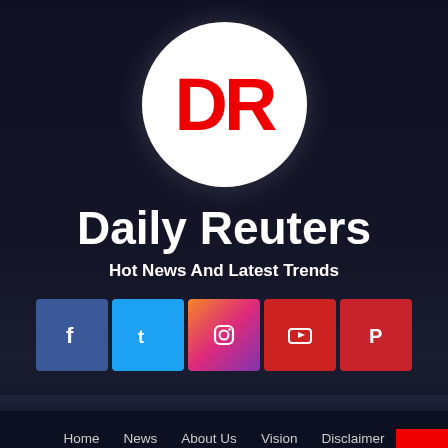[Figure (logo): Daily Reuters logo: white circle with red bold 'DR' text]
Daily Reuters
Hot News And Latest Trends
[Figure (infographic): Social media icons row: Facebook, Twitter, Instagram, YouTube, Pinterest]
Home   News   About Us   Vision   Disclaimer   Terms & Conditions   Privacy Policy   Cookies Policy   Autho...